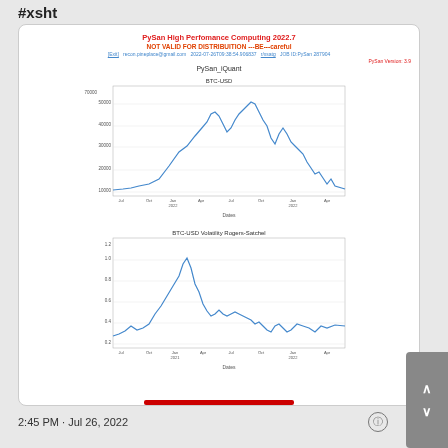#xsht
PySan High Perfomance Computing 2022.7
NOT VALID FOR DISTRIBUITION ---BE---careful
[Exit]   recon.pineplace@gmail.com  2022-07-26T09:38:54.906837   r/xsatg  JOB ID:PySan 287904
PySan Version: 3.9
PySan_iQuant
[Figure (continuous-plot): BTC-USD price line chart from Jul 2021 to Apr 2022, showing price rising from ~10000 to peak ~70000 then declining to ~30000]
[Figure (continuous-plot): BTC-USD Volatility Rogers-Satchel line chart from Jul 2021 to Apr 2022, values ranging 0.2 to 1.4]
2:45 PM · Jul 26, 2022